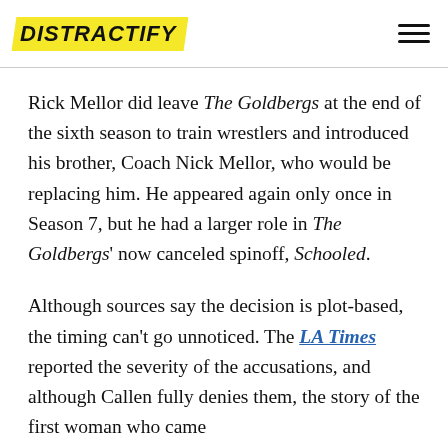DISTRACTIFY
Rick Mellor did leave The Goldbergs at the end of the sixth season to train wrestlers and introduced his brother, Coach Nick Mellor, who would be replacing him. He appeared again only once in Season 7, but he had a larger role in The Goldbergs' now canceled spinoff, Schooled.
Although sources say the decision is plot-based, the timing can't go unnoticed. The LA Times reported the severity of the accusations, and although Callen fully denies them, the story of the first woman who came